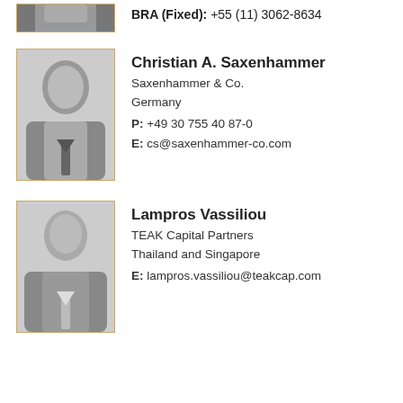[Figure (photo): Partial photo of a person at top of page (cropped), black and white headshot]
BRA (Fixed): +55 (11) 3062-8634
[Figure (photo): Black and white headshot photo of Christian A. Saxenhammer, man in suit]
Christian A. Saxenhammer
Saxenhammer & Co.
Germany
P: +49 30 755 40 87-0
E: cs@saxenhammer-co.com
[Figure (photo): Black and white headshot photo of Lampros Vassiliou, bald man in suit]
Lampros Vassiliou
TEAK Capital Partners
Thailand and Singapore
E: lampros.vassiliou@teakcap.com